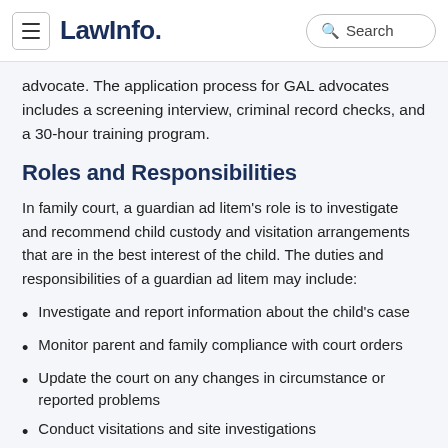LawInfo. Search
advocate. The application process for GAL advocates includes a screening interview, criminal record checks, and a 30-hour training program.
Roles and Responsibilities
In family court, a guardian ad litem's role is to investigate and recommend child custody and visitation arrangements that are in the best interest of the child. The duties and responsibilities of a guardian ad litem may include:
Investigate and report information about the child's case
Monitor parent and family compliance with court orders
Update the court on any changes in circumstance or reported problems
Conduct visitations and site investigations